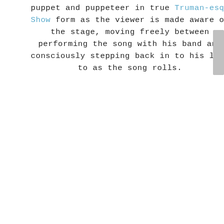puppet and puppeteer in true Truman-esqe Show form as the viewer is made aware of the stage, moving freely between performing the song with his band and consciously stepping back in to his life to as the song rolls.